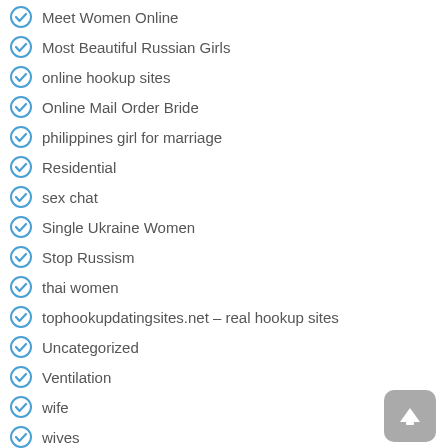Meet Women Online
Most Beautiful Russian Girls
online hookup sites
Online Mail Order Bride
philippines girl for marriage
Residential
sex chat
Single Ukraine Women
Stop Russism
thai women
tophookupdatingsites.net – real hookup sites
Uncategorized
Ventilation
wife
wives
women dating